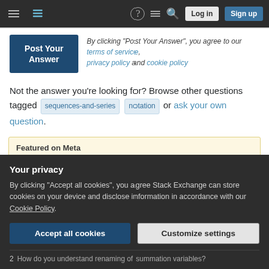Stack Exchange navigation bar with hamburger menu, logo, help, chat, search icons, Log in and Sign up buttons
By clicking "Post Your Answer", you agree to our terms of service, privacy policy and cookie policy
Not the answer you're looking for? Browse other questions tagged sequences-and-series notation or ask your own question.
Featured on Meta
Your privacy
By clicking "Accept all cookies", you agree Stack Exchange can store cookies on your device and disclose information in accordance with our Cookie Policy.
How do you understand renaming of summation variables?